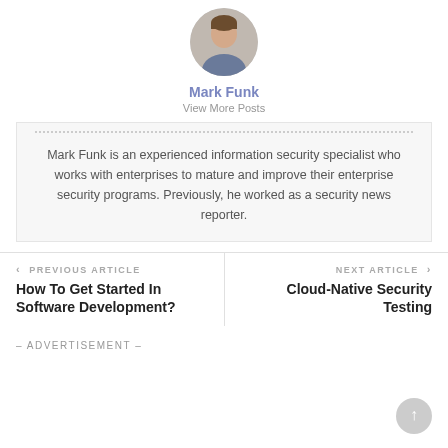[Figure (photo): Circular avatar photo of Mark Funk, a man in professional attire]
Mark Funk
View More Posts
Mark Funk is an experienced information security specialist who works with enterprises to mature and improve their enterprise security programs. Previously, he worked as a security news reporter.
‹ PREVIOUS ARTICLE
How To Get Started In Software Development?
NEXT ARTICLE ›
Cloud-Native Security Testing
– ADVERTISEMENT –